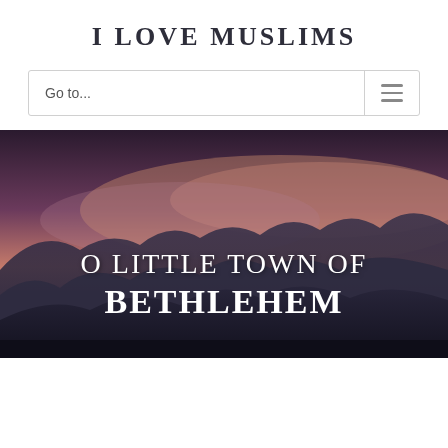I LOVE MUSLIMS
Go to...
[Figure (photo): Hero image of mountain silhouettes at dusk with purple and pink sky, overlaid with text 'O LITTLE TOWN OF BETHLEHEM' in white serif font]